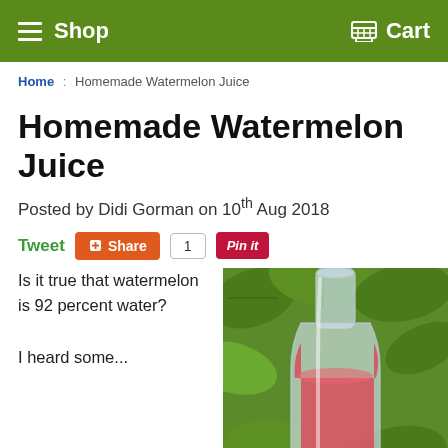Shop  Cart
Home : Homemade Watermelon Juice
Homemade Watermelon Juice
Posted by Didi Gorman on 10th Aug 2018
Tweet  Share  1  Pin it
Is it true that watermelon is 92 percent water?

I heard some...
[Figure (photo): A glass bottle filled with pink/red watermelon juice against a backdrop of green leaves]